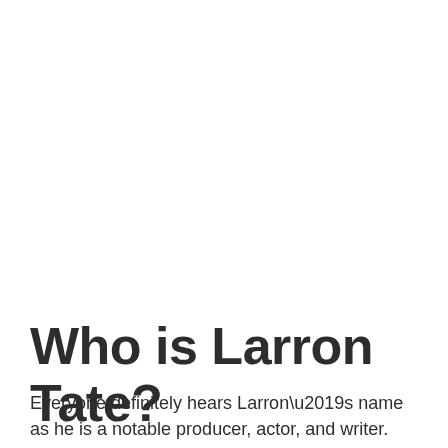Who is Larron Tate?
Everyone definitely hears Larron’s name as he is a notable producer, actor, and writer.